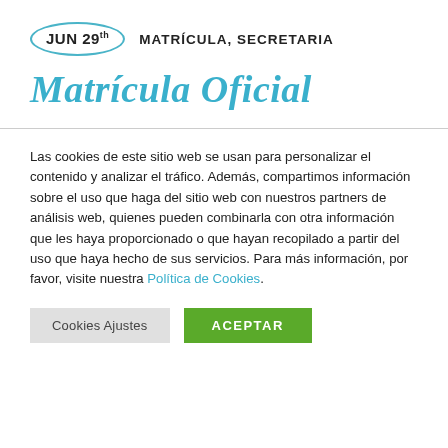JUN 29th  MATRÍCULA, SECRETARIA
Matrícula Oficial
Las cookies de este sitio web se usan para personalizar el contenido y analizar el tráfico. Además, compartimos información sobre el uso que haga del sitio web con nuestros partners de análisis web, quienes pueden combinarla con otra información que les haya proporcionado o que hayan recopilado a partir del uso que haya hecho de sus servicios. Para más información, por favor, visite nuestra Política de Cookies.
Cookies Ajustes  ACEPTAR